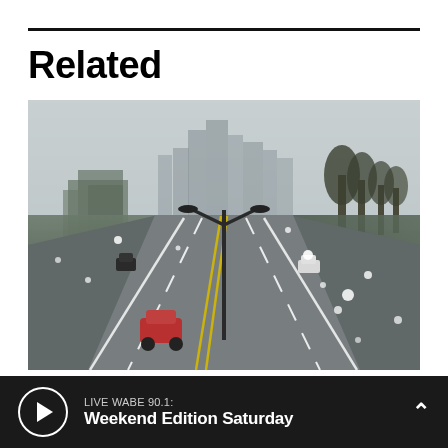Related
[Figure (photo): Aerial view of a near-empty multi-lane highway during winter weather with light snow falling. A red vehicle is in the lower left lane, a white vehicle is on the right side. City skyline is visible in the foggy background. A double street lamp stands in the median.]
WINTER WEATHER
LIVE WABE 90.1: Weekend Edition Saturday